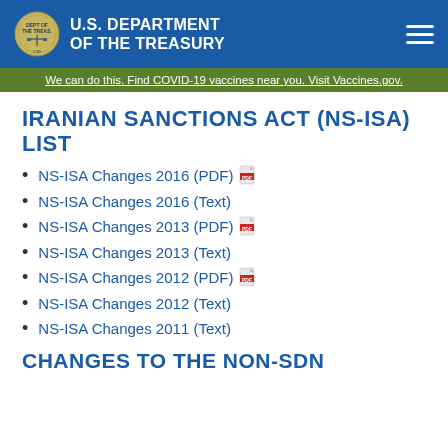U.S. DEPARTMENT OF THE TREASURY
We can do this. Find COVID-19 vaccines near you. Visit Vaccines.gov.
IRANIAN SANCTIONS ACT (NS-ISA) LIST
NS-ISA Changes 2016 (PDF)
NS-ISA Changes 2016 (Text)
NS-ISA Changes 2013 (PDF)
NS-ISA Changes 2013 (Text)
NS-ISA Changes 2012 (PDF)
NS-ISA Changes 2012 (Text)
NS-ISA Changes 2011 (Text)
CHANGES TO THE NON-SDN